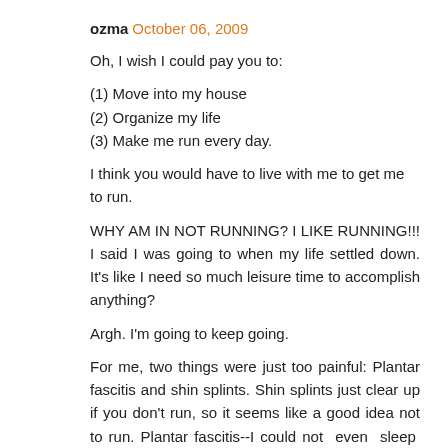ozma  October 06, 2009
Oh, I wish I could pay you to:
(1) Move into my house
(2) Organize my life
(3) Make me run every day.
I think you would have to live with me to get me to run.
WHY AM IN NOT RUNNING? I LIKE RUNNING!!! I said I was going to when my life settled down. It's like I need so much leisure time to accomplish anything?
Argh. I'm going to keep going.
For me, two things were just too painful: Plantar fascitis and shin splints. Shin splints just clear up if you don't run, so it seems like a good idea not to run. Plantar fascitis--I could not even sleep with that and it did get worse...otherwise...yes, you do feel much better. However, I did notice that colds go away much more slowly if I work out with a cold.